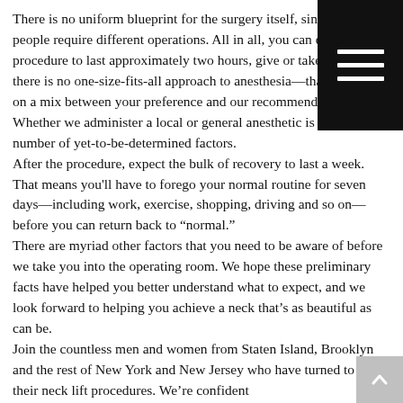There is no uniform blueprint for the surgery itself, since different people require different operations. All in all, you can expect the procedure to last approximately two hours, give or take. Likewise, there is no one-size-fits-all approach to anesthesia—that depends on a mix between your preference and our recommendation. Whether we administer a local or general anesthetic is up to a number of yet-to-be-determined factors.
After the procedure, expect the bulk of recovery to last a week. That means you'll have to forego your normal routine for seven days—including work, exercise, shopping, driving and so on—before you can return back to “normal.”
There are myriad other factors that you need to be aware of before we take you into the operating room. We hope these preliminary facts have helped you better understand what to expect, and we look forward to helping you achieve a neck that’s as beautiful as can be.
Join the countless men and women from Staten Island, Brooklyn and the rest of New York and New Jersey who have turned to us for their neck lift procedures. We’re confident